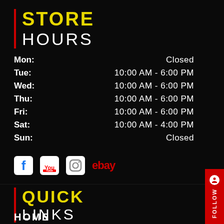STORE HOURS
| Day | Hours |
| --- | --- |
| Mon: | Closed |
| Tue: | 10:00 AM - 6:00 PM |
| Wed: | 10:00 AM - 6:00 PM |
| Thu: | 10:00 AM - 6:00 PM |
| Fri: | 10:00 AM - 6:00 PM |
| Sat: | 10:00 AM - 4:00 PM |
| Sun: | Closed |
[Figure (logo): Social media icons: Facebook, YouTube, Instagram, eBay]
QUICK LINKS
HOME